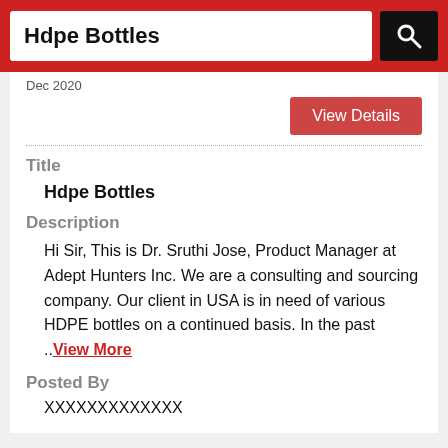Hdpe Bottles
Dec 2020
View Details
Title
Hdpe Bottles
Description
Hi Sir, This is Dr. Sruthi Jose, Product Manager at Adept Hunters Inc. We are a consulting and sourcing company. Our client in USA is in need of various HDPE bottles on a continued basis. In the past ..View More
Posted By
XXXXXXXXXXXXX